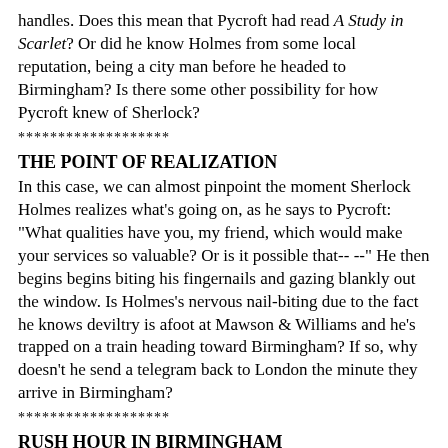handles. Does this mean that Pycroft had read A Study in Scarlet? Or did he know Holmes from some local reputation, being a city man before he headed to Birmingham? Is there some other possibility for how Pycroft knew of Sherlock?
*******************
THE POINT OF REALIZATION
In this case, we can almost pinpoint the moment Sherlock Holmes realizes what's going on, as he says to Pycroft:
"What qualities have you, my friend, which would make your services so valuable? Or is it possible that-- --" He then begins begins biting his fingernails and gazing blankly out the window. Is Holmes's nervous nail-biting due to the fact he knows deviltry is afoot at Mawson & Williams and he's trapped on a train heading toward Birmingham? If so, why doesn't he send a telegram back to London the minute they arrive in Birmingham?
*******************
RUSH HOUR IN BIRMINGHAM
At seven o'clock in the evening, Holmes, Watson, and Pycroft are walking along Corporation Street in Birmingham when they see Pinner cross the street to buy a paper:
"As we watched him he looked across at a boy who was bawling out the latest edition of the evening paper, and, running over